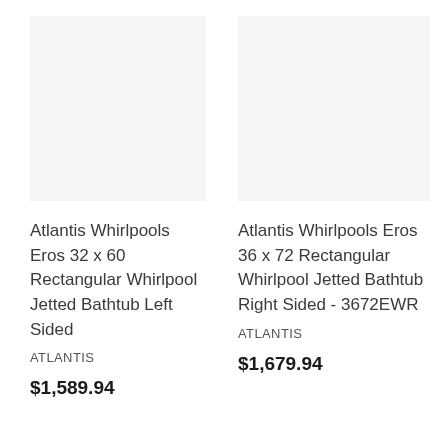[Figure (photo): Product image placeholder for Atlantis Whirlpools Eros 32 x 60 Rectangular Whirlpool Jetted Bathtub Left Sided — light gray background, no visible product]
Atlantis Whirlpools Eros 32 x 60 Rectangular Whirlpool Jetted Bathtub Left Sided
ATLANTIS
$1,589.94
[Figure (photo): Product image placeholder for Atlantis Whirlpools Eros 36 x 72 Rectangular Whirlpool Jetted Bathtub Right Sided - 3672EWR — light gray background, no visible product]
Atlantis Whirlpools Eros 36 x 72 Rectangular Whirlpool Jetted Bathtub Right Sided - 3672EWR
ATLANTIS
$1,679.94